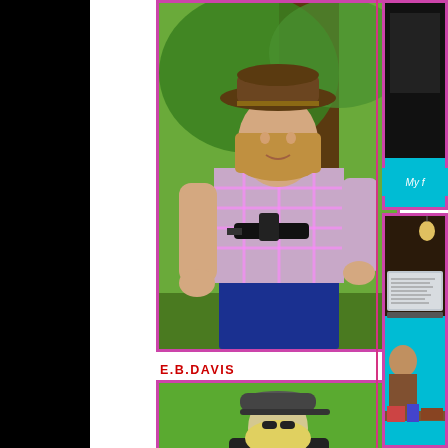[Figure (photo): Woman in cowboy hat holding a gun outdoors under a tree, wearing a plaid shirt]
E.B.DAVIS
[Figure (photo): Person crouching on grass in leather jacket and hat, holding a small gun]
MARY DUTTA
[Figure (photo): Close-up partial photo of a person with red/auburn hair]
[Figure (photo): Sidebar top: dark partial photo]
My f
[Figure (screenshot): Screenshot of a computer screen showing a document/writing software, with a person visible in a dimly lit room]